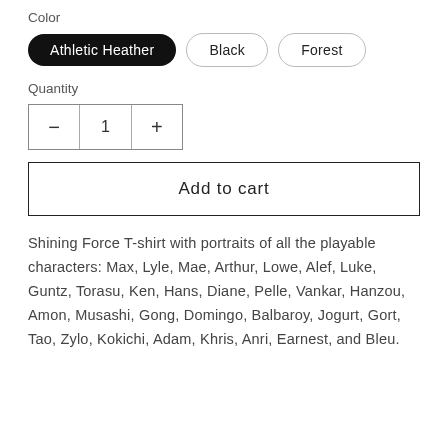Color
Athletic Heather | Black | Forest
Quantity
- 1 +
Add to cart
Shining Force T-shirt with portraits of all the playable characters: Max, Lyle, Mae, Arthur, Lowe, Alef, Luke, Guntz, Torasu, Ken, Hans, Diane, Pelle, Vankar, Hanzou, Amon, Musashi, Gong, Domingo, Balbaroy, Jogurt, Gort, Tao, Zylo, Kokichi, Adam, Khris, Anri, Earnest, and Bleu.